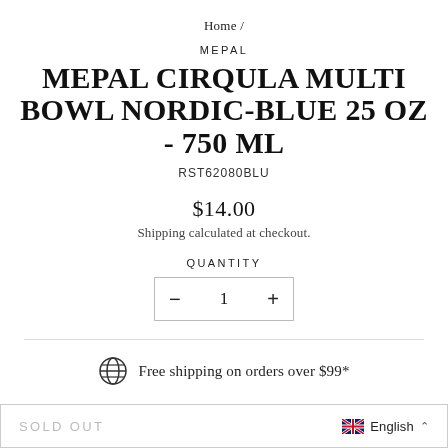Home /
MEPAL
MEPAL CIRQULA MULTI BOWL NORDIC-BLUE 25 OZ - 750 ML
RST62080BLU
$14.00
Shipping calculated at checkout.
QUANTITY
— 1 +
Free shipping on orders over $99*
SOLD OUT
English